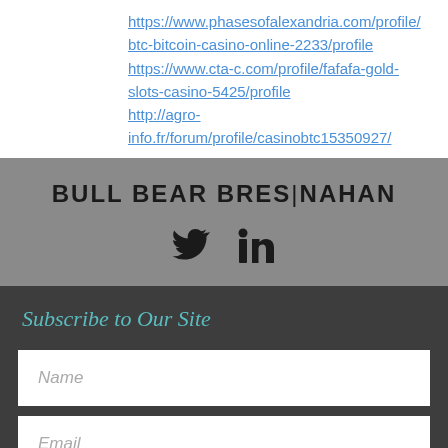https://www.phasesofalexandria.com/profile/btc-bitcoin-casino-online-2233/profile
https://www.cta-c.com/profile/fafafa-gold-slots-casino-5425/profile
http://agro-info.fr/forum/profile/casinobtc15350927/
[Figure (logo): Bull Bear Bresnahan logo with Twitter and LinkedIn social icons on gray background]
Subscribe to Our Site
Name
Email